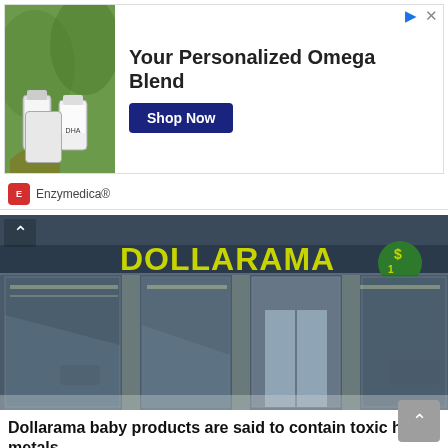[Figure (screenshot): Advertisement banner for Enzymedica personalized Omega Blend with supplement bottles and Shop Now button]
[Figure (photo): Exterior photograph of a Dollarama store showing the yellow DOLLARAMA sign and glass storefront]
Dollarama baby products are said to contain toxic heavy metals